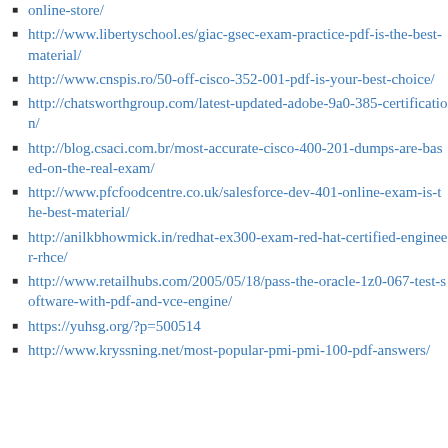online-store/
http://www.libertyschool.es/giac-gsec-exam-practice-pdf-is-the-best-material/
http://www.cnspis.ro/50-off-cisco-352-001-pdf-is-your-best-choice/
http://chatsworthgroup.com/latest-updated-adobe-9a0-385-certification/
http://blog.csaci.com.br/most-accurate-cisco-400-201-dumps-are-based-on-the-real-exam/
http://www.pfcfoodcentre.co.uk/salesforce-dev-401-online-exam-is-the-best-material/
http://anilkbhowmick.in/redhat-ex300-exam-red-hat-certified-engineer-rhce/
http://www.retailhubs.com/2005/05/18/pass-the-oracle-1z0-067-test-software-with-pdf-and-vce-engine/
https://yuhsg.org/?p=500514
http://www.kryssning.net/most-popular-pmi-pmi-100-pdf-answers/